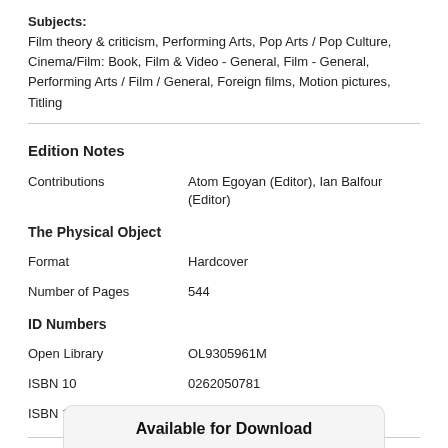Subjects: Film theory & criticism, Performing Arts, Pop Arts / Pop Culture, Cinema/Film: Book, Film & Video - General, Film - General, Performing Arts / Film / General, Foreign films, Motion pictures, Titling
Edition Notes
| Contributions | Atom Egoyan (Editor), Ian Balfour (Editor) |
| The Physical Object |  |
| Format | Hardcover |
| Number of Pages | 544 |
| ID Numbers |  |
| Open Library | OL9305961M |
| ISBN 10 | 0262050781 |
| ISBN 10 | 9780262050784 |
Available for Download